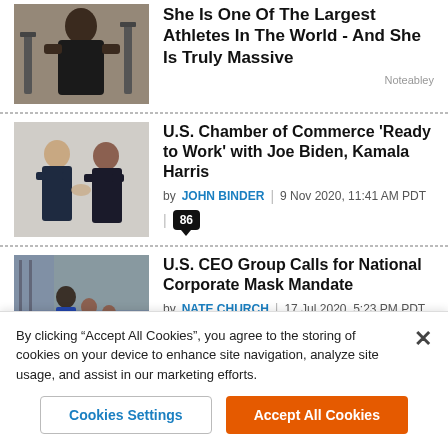[Figure (photo): Woman in gym/fitness setting, muscular athlete]
She Is One Of The Largest Athletes In The World - And She Is Truly Massive
Noteabley
[Figure (photo): Two people shaking hands, one appears to be Joe Biden, the other Kamala Harris]
U.S. Chamber of Commerce ‘Ready to Work’ with Joe Biden, Kamala Harris
by JOHN BINDER | 9 Nov 2020, 11:41 AM PDT | 86
[Figure (photo): Family walking outdoors, urban street scene]
U.S. CEO Group Calls for National Corporate Mask Mandate
by NATE CHURCH | 17 Jul 2020, 5:23 PM PDT | 1,133
By clicking “Accept All Cookies”, you agree to the storing of cookies on your device to enhance site navigation, analyze site usage, and assist in our marketing efforts.
Cookies Settings
Accept All Cookies